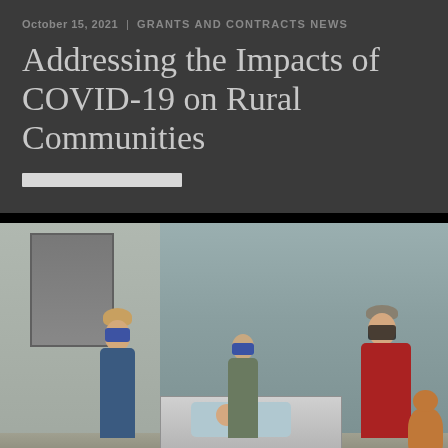October 15, 2021 | GRANTS AND CONTRACTS NEWS
Addressing the Impacts of COVID-19 on Rural Communities
[Figure (photo): Healthcare workers wearing masks in a hospital simulation room with a patient mannequin on a bed and medical equipment, a person in blue scrubs, a person in a vest, and a person in a red jacket.]